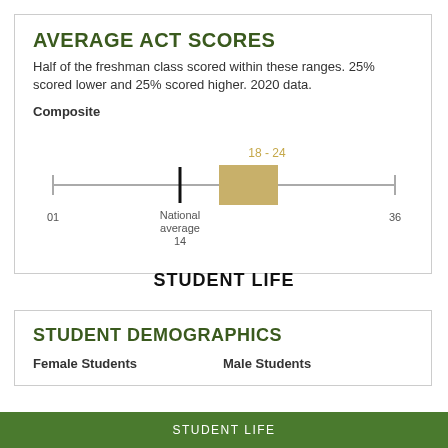AVERAGE ACT SCORES
Half of the freshman class scored within these ranges. 25% scored lower and 25% scored higher. 2020 data.
Composite
[Figure (other): Box-and-whisker plot showing ACT Composite score range 18-24 on a scale of 01 to 36. National average marked at 14.]
STUDENT LIFE
STUDENT DEMOGRAPHICS
Female Students   Male Students
STUDENT LIFE